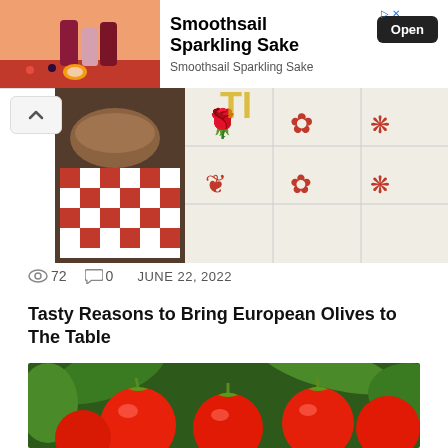[Figure (photo): Advertisement banner for Smoothsail Sparkling Sake showing canned drinks with berries and peach on orange/red background]
Smoothsail Sparkling Sake
Smoothsail Sparkling Sake
[Figure (photo): Partial view of food preparation scene with red and white checkered cloth, decorative tiles with red floral patterns, and food items]
72   0   JUNE 22, 2022
Tasty Reasons to Bring European Olives to The Table
[Figure (photo): Close-up photograph of ripe red tomatoes on the vine with green leaves in the background]